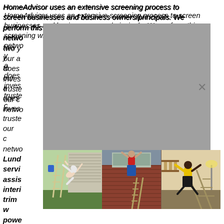HomeAdvisor uses an extensive screening process to screen businesses and business owners/principals. We perform this screening when a business applies to join our network and, if the business is accepted, every two years thereafter. As part of our commitment to our approved network, any business that does not work doesn't pass our ongoing screening process can investigate their background. Our list of trusted pros includes background checks to meet our criteria and has been removed from our network.
Lundeen Painting provides painting service, interior and exterior, assistace with color selection. Fine interior painting and fine trim work, pressure washing, power wash, stucco restoration, ceiling removal, and more. As such we have always put our customer first.
HomeAdvisor
High Tech construction company, Exterior Restoration. High Tech construction company provides a wide array of specific services. Our consultant team will assist you all the way, step by step making the
[Figure (photo): Modal overlay (gray rectangle with X close button) and a photo strip showing three humorous images of people falling off ladders near houses and indoors.]